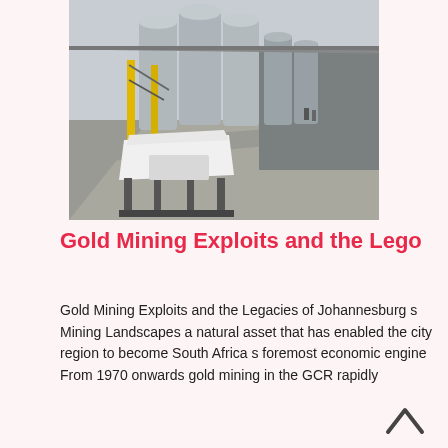[Figure (photo): Industrial mining facility with large grey cylindrical silos/hoppers, yellow structural columns, heavy machinery including a white piece of equipment in the foreground, concrete ground, overcast sky.]
Gold Mining Exploits and the Lego
Gold Mining Exploits and the Legacies of Johannesburg s Mining Landscapes a natural asset that has enabled the city region to become South Africa s foremost economic engine From 1970 onwards gold mining in the GCR rapidly